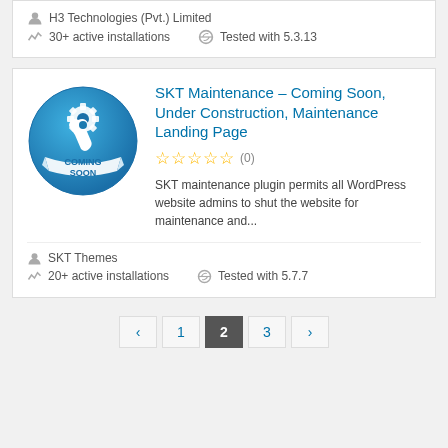H3 Technologies (Pvt.) Limited
30+ active installations   Tested with 5.3.13
SKT Maintenance – Coming Soon, Under Construction, Maintenance Landing Page
(0)
SKT maintenance plugin permits all WordPress website admins to shut the website for maintenance and...
SKT Themes
20+ active installations   Tested with 5.7.7
‹  1  2  3  ›